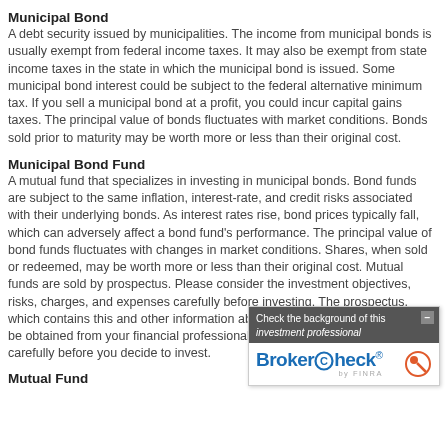Municipal Bond
A debt security issued by municipalities. The income from municipal bonds is usually exempt from federal income taxes. It may also be exempt from state income taxes in the state in which the municipal bond is issued. Some municipal bond interest could be subject to the federal alternative minimum tax. If you sell a municipal bond at a profit, you could incur capital gains taxes. The principal value of bonds fluctuates with market conditions. Bonds sold prior to maturity may be worth more or less than their original cost.
Municipal Bond Fund
A mutual fund that specializes in investing in municipal bonds. Bond funds are subject to the same inflation, interest-rate, and credit risks associated with their underlying bonds. As interest rates rise, bond prices typically fall, which can adversely affect a bond fund's performance. The principal value of bond funds fluctuates with changes in market conditions. Shares, when sold or redeemed, may be worth more or less than their original cost. Mutual funds are sold by prospectus. Please consider the investment objectives, risks, charges, and expenses carefully before investing. The prospectus, which contains this and other information about the investment company, can be obtained from your financial professional. Be sure to read the prospectus carefully before you decide to invest.
[Figure (other): BrokerCheck by FINRA overlay widget with text 'Check the background of this investment professional' and BrokerCheck logo with close button]
Mutual Fund